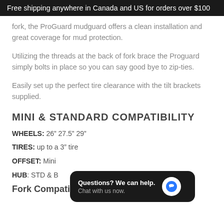Free shipping anywhere in Canada and US for orders over $100
fork, the ProGuard mudguard offers a clean installation and great coverage for mud protection.
Utilizing the threads at the back of fork brace the Proguard simply bolts in place so you can say good bye to zip-ties.
Easily set up the perfect tire clearance with the tilt brackets supplied.
MINI & STANDARD COMPATIBILITY
WHEELS: 26" 27.5" 29"
TIRES: up to a 3" tire
OFFSET: Mini...
HUB: STD & B...
Fork Compatibility